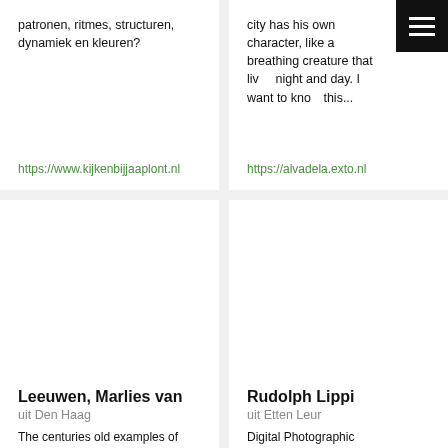patronen, ritmes, structuren, dynamiek en kleuren?
https://www.kijkenbijjaaplont.nl
city has his own character, like a breathing creature that lives night and day. I want to know this...
https://alvadela.exto.nl
Leeuwen, Marlies van
uit Den Haag
The centuries old examples of
Rudolph Lippi
uit Etten Leur
Digital Photographic